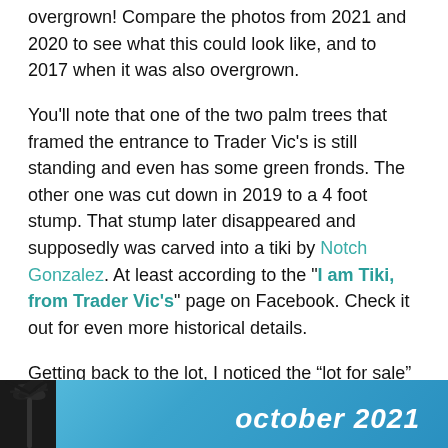overgrown! Compare the photos from 2021 and 2020 to see what this could look like, and to 2017 when it was also overgrown.
You'll note that one of the two palm trees that framed the entrance to Trader Vic's is still standing and even has some green fronds. The other one was cut down in 2019 to a 4 foot stump. That stump later disappeared and supposedly was carved into a tiki by Notch Gonzalez. At least according to the "I am Tiki, from Trader Vic's" page on Facebook. Check it out for even more historical details.
Getting back to the lot, I noticed the “lot for sale” signs are no longer present. Maybe someone bought it. Maybe someone gave up trying.
[Figure (photo): Bottom strip showing a photo with blue sky background and palm tree silhouette on the left. White bold italic text reads 'october 2021' on the right side.]